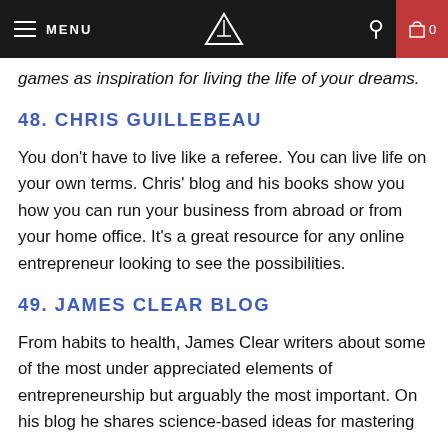MENU | HUSTLE + GRIND | 0
games as inspiration for living the life of your dreams.
48. CHRIS GUILLEBEAU
You don't have to live like a referee. You can live life on your own terms. Chris' blog and his books show you how you can run your business from abroad or from your home office. It's a great resource for any online entrepreneur looking to see the possibilities.
49. JAMES CLEAR BLOG
From habits to health, James Clear writers about some of the most under appreciated elements of entrepreneurship but arguably the most important. On his blog he shares science-based ideas for mastering your habits and improving your life.